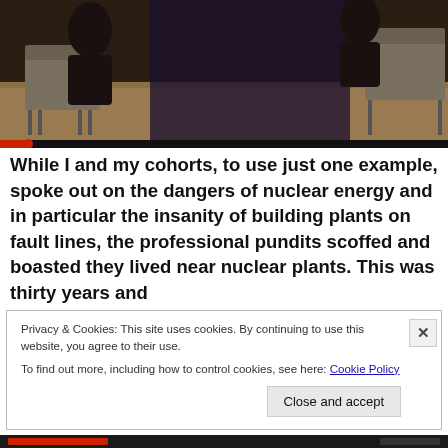[Figure (photo): A darkened photo showing chairs and a draped figure in what appears to be a meeting or event room with warm-toned flooring. A video progress bar is visible at the bottom of the image.]
While I and my cohorts, to use just one example, spoke out on the dangers of nuclear energy and in particular the insanity of building plants on fault lines, the professional pundits scoffed and boasted they lived near nuclear plants. This was thirty years and
Privacy & Cookies: This site uses cookies. By continuing to use this website, you agree to their use.
To find out more, including how to control cookies, see here: Cookie Policy
Close and accept